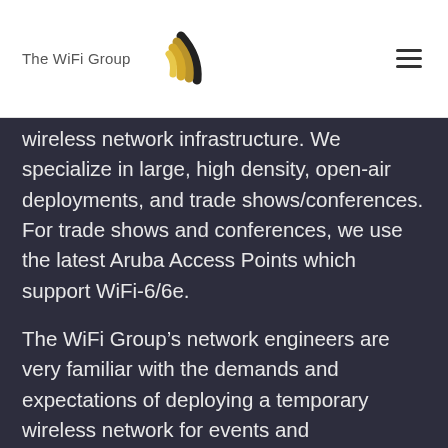The WiFi Group
wireless network infrastructure. We specialize in large, high density, open-air deployments, and trade shows/conferences. For trade shows and conferences, we use the latest Aruba Access Points which support WiFi-6/6e.
The WiFi Group’s network engineers are very familiar with the demands and expectations of deploying a temporary wireless network for events and conferences of all sizes. We have excellent working relationships with most of the major event spaces in Las Vegas, Nevada.  Besides numerous locations in the United States, The WiFi Group has deployed wireless networks at events throughout